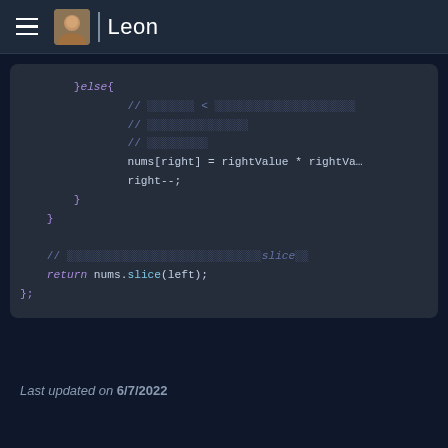Leon
[Figure (screenshot): Code block showing JavaScript code with else block containing comments (redacted), nums[right] = rightValue * rightVa..., right--; closing braces, and return nums.slice(left); statement]
Last updated on 6/7/2022